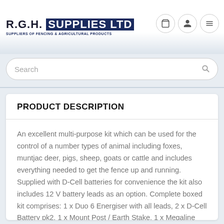R.G.H. SUPPLIES LTD — SUPPLIERS OF FENCING & AGRICULTURAL PRODUCTS
PRODUCT DESCRIPTION
An excellent multi-purpose kit which can be used for the control of a number types of animal including foxes, muntjac deer, pigs, sheep, goats or cattle and includes everything needed to get the fence up and running. Supplied with D-Cell batteries for convenience the kit also includes 12 V battery leads as an option. Complete boxed kit comprises: 1 x Duo 6 Energiser with all leads, 2 x D-Cell Battery pk2, 1 x Mount Post / Earth Stake, 1 x Megaline 400m premium polywire, 20 x Easypost 105cm green polyposts, 1 x Woodscrew corner / end insulator pk2, 1 x Gate Handle, 1 x Rope end connector, 1 x Warning Sign, 1